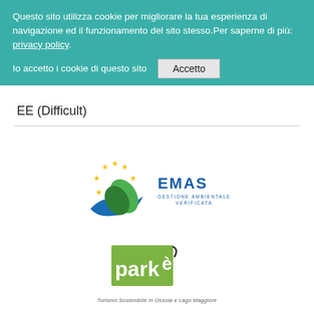Questo sito utilizza cookie per migliorare la tua esperienza di navigazione ed il funzionamento del sito stesso.Per saperne di più: privacy policy.
Io accetto i cookie di questo sito  [Accetto]
EE (Difficult)
[Figure (logo): EMAS logo with blue wave and green leaf, yellow stars in arc, text EMAS GESTIONE AMBIENTALE VERIFICATA]
[Figure (logo): parkè logo - green square with 'parkè' text, tagline: Turismo Sostenibile in Ossola e Lago Maggiore]